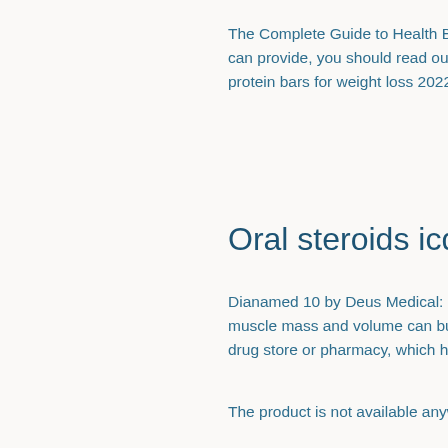The Complete Guide to Health Benefits of a Vegan Diet 2018: To find out what a vegan diet can provide, you should read our vegan-only chapters of the Bodybuilding Report, best protein bars for weight loss 2022.
Oral steroids icd 10
Dianamed 10 by Deus Medical: Bodybuilders looking to buy oral steroids online to increase muscle mass and volume can buy Dianamed 10 (Dianabol)by Dianamed 10 from a local drug store or pharmacy, which has been around for over a hundred years.
The product is not available anywhere else in the United States. It is not a